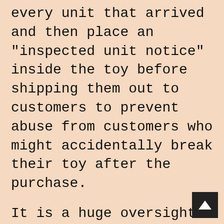every unit that arrived and then place an "inspected unit notice" inside the toy before shipping them out to customers to prevent abuse from customers who might accidentally break their toy after the purchase.
It is a huge oversight from the Bandai design team when you think about it. I mean, look at the Gx-07 OVA Mazinger Z's chest plate connectors. Those pins are huge and sturdy!
Overall, it's a good piece and being Mazinkaiser, deserves a spot next to your SOCs. It's good, but not epic. The toy itself doesn't really bring anything new to the table compared to other Mazinkaiser